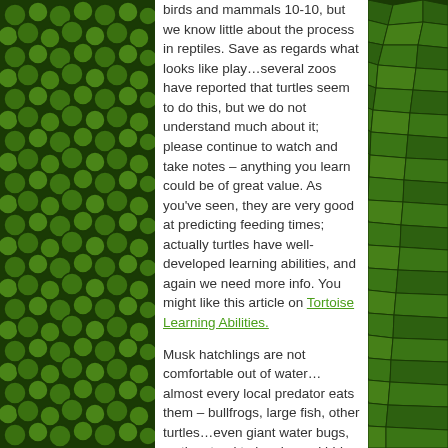[Figure (photo): Green reptile scale texture background on left and right sides of the page]
birds and mammals 10-10, but we know little about the process in reptiles. Save as regards what looks like play…several zoos have reported that turtles seem to do this, but we do not understand much about it; please continue to watch and take notes – anything you learn could be of great value. As you've seen, they are very good at predicting feeding times; actually turtles have well-developed learning abilities, and again we need more info. You might like this article on Tortoise Learning Abilities.
Musk hatchlings are not comfortable out of water…almost every local predator eats them – bullfrogs, large fish, other turtles…even giant water bugs, so they tend to be shy and hide. Interesting that yours stay together – perhaps safety in numbers, but there are no real studies on this – good on